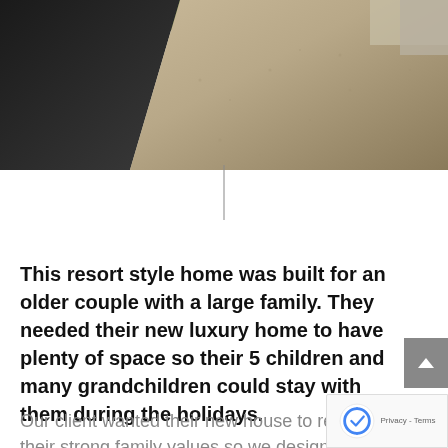[Figure (photo): Exterior view of a resort style home showing a dark retaining wall on the left, gravel driveway/path area, and greenery at the top. Rendered architectural image with warm beige/brown tones.]
This resort style home was built for an older couple with a large family. They needed their new luxury home to have plenty of space so their 5 children and many grandchildren could stay with them during the holidays.
Our client wanted their new house to reflect their strong family values so we designed them